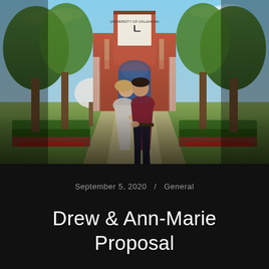[Figure (photo): Outdoor engagement photo of a couple holding hands and leaning toward each other, standing in front of a large brick university building with a clock tower and arched entrance, flanked by green trees and manicured hedges along a central walkway.]
September 5, 2020  /  General
Drew & Ann-Marie Proposal